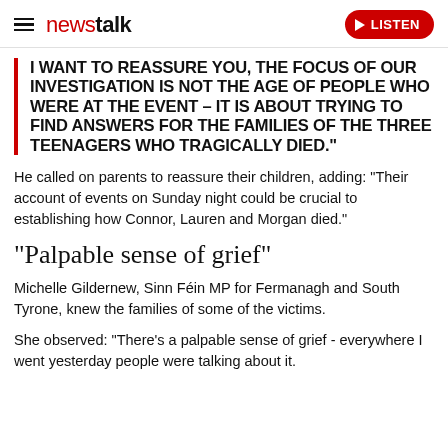newstalk | LISTEN
"I WANT TO REASSURE YOU, THE FOCUS OF OUR INVESTIGATION IS NOT THE AGE OF PEOPLE WHO WERE AT THE EVENT – IT IS ABOUT TRYING TO FIND ANSWERS FOR THE FAMILIES OF THE THREE TEENAGERS WHO TRAGICALLY DIED."
He called on parents to reassure their children, adding: "Their account of events on Sunday night could be crucial to establishing how Connor, Lauren and Morgan died."
"Palpable sense of grief"
Michelle Gildernew, Sinn Féin MP for Fermanagh and South Tyrone, knew the families of some of the victims.
She observed: "There's a palpable sense of grief - everywhere I went yesterday people were talking about it.